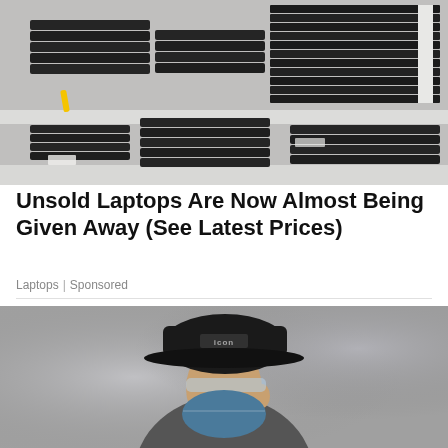[Figure (photo): Stacked laptops on shelves in a storage or warehouse setting]
Unsold Laptops Are Now Almost Being Given Away (See Latest Prices)
Laptops | Sponsored
[Figure (photo): Person wearing a dark cap with 'Icon' logo, sunglasses, and a face mask, photographed from behind/side]